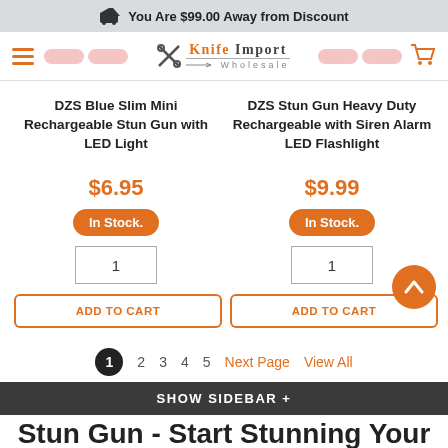You Are $99.00 Away from Discount
[Figure (screenshot): Knife Import Wholesale website navigation bar with hamburger menu, logo, and cart icon]
DZS Blue Slim Mini Rechargeable Stun Gun with LED Light
$6.95
In Stock.
1
ADD TO CART
DZS Stun Gun Heavy Duty Rechargeable with Siren Alarm LED Flashlight
$9.99
In Stock.
1
ADD TO CART
1  2  3  4  5  Next Page  View All
SHOW SIDEBAR +
Stun Gun - Start Stunning Your